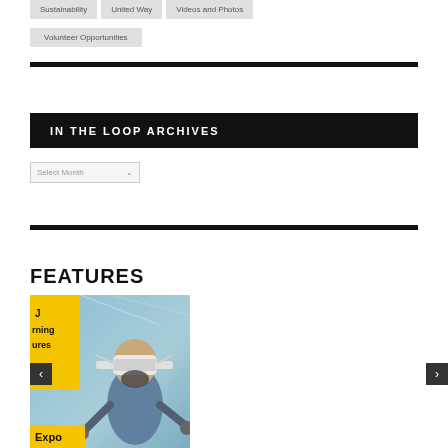Sustainability
United Way
Videos and Photos
Volunteer Opportunities
IN THE LOOP ARCHIVES
Select Month
FEATURES
[Figure (photo): Person wearing a VR headset and mask, holding controllers, with a yellow banner showing text including 'Expo' in the foreground]